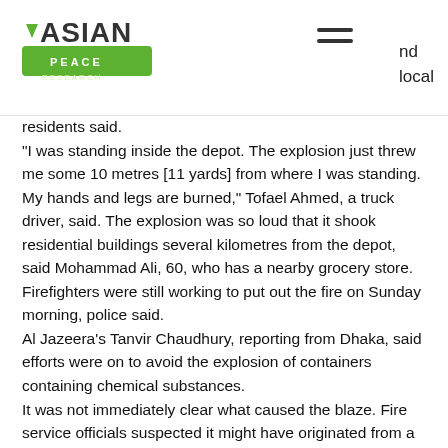Asian Peace Research [logo] — nd local residents said.
“I was standing inside the depot. The explosion just threw me some 10 metres [11 yards] from where I was standing. My hands and legs are burned,” Tofael Ahmed, a truck driver, said. The explosion was so loud that it shook residential buildings several kilometres from the depot, said Mohammad Ali, 60, who has a nearby grocery store. Firefighters were still working to put out the fire on Sunday morning, police said. Al Jazeera’s Tanvir Chaudhury, reporting from Dhaka, said efforts were on to avoid the explosion of containers containing chemical substances. It was not immediately clear what caused the blaze. Fire service officials suspected it might have originated from a container of hydrogen peroxide and spread quickly to other containers. About 5,000 containers are at the BM Inland Container Depot, which handles goods for export and import, according to local media.